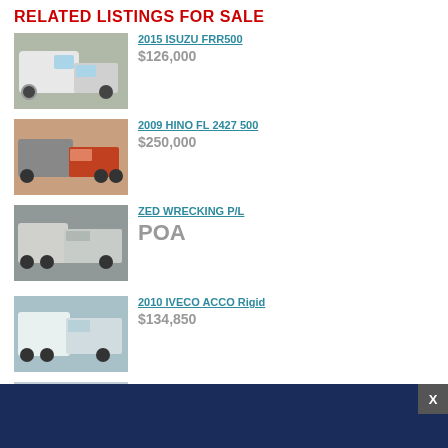RELATED LISTINGS FOR SALE
2015 ISUZU FRR500 | $126,000
2009 HINO FL 2427 500 | $250,000
ZED WRECKING P/L | POA
2010 IVECO ACCO Rigid | $134,850
IVECO EUROCARGO 160E28 | $195,250